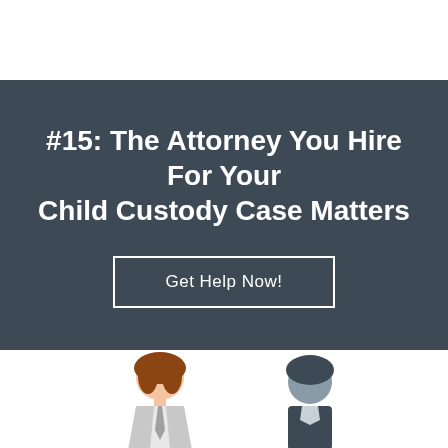#15: The Attorney You Hire For Your Child Custody Case Matters
Get Help Now!
[Figure (illustration): Two illustrated figures at bottom of page: a person with brown hair on the left and a dark-clothed figure on the right, partially cropped]